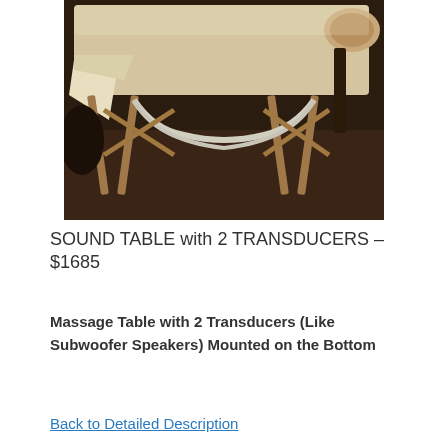[Figure (photo): A portable massage table with wooden folding legs and a cream-colored cover, photographed from the side on a dark floor. A white support brace is visible underneath the table along with wooden cross-support legs.]
SOUND TABLE with 2 TRANSDUCERS – $1685
Massage Table with 2 Transducers (Like Subwoofer Speakers) Mounted on the Bottom
Back to Detailed Description